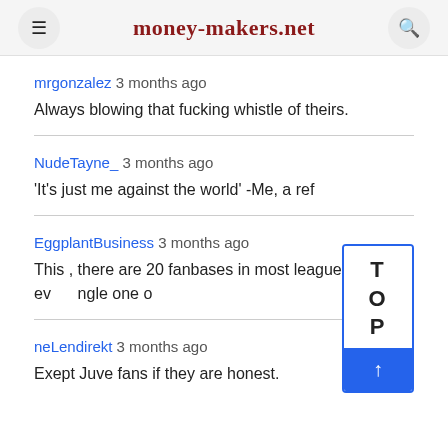money-makers.net
mrgonzalez 3 months ago
Always blowing that fucking whistle of theirs.
NudeTayne_ 3 months ago
'It's just me against the world' -Me, a ref
EggplantBusiness 3 months ago
This , there are 20 fanbases in most league and every single one o
neLendirekt 3 months ago
Exept Juve fans if they are honest.